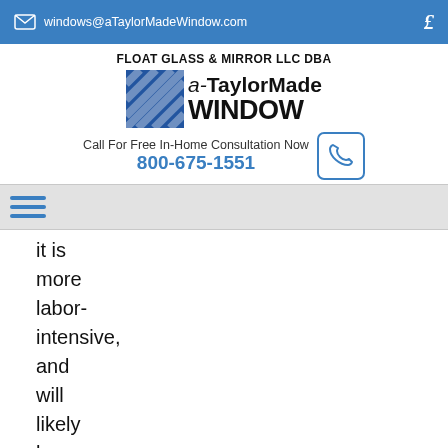windows@aTaylorMadeWindow.com
[Figure (logo): a-TaylorMade WINDOW company logo with blue diagonal striped box and text]
FLOAT GLASS & MIRROR LLC DBA
Call For Free In-Home Consultation Now
800-675-1551
it is more labor-intensive, and will likely be pricier than retrofit windows. However,